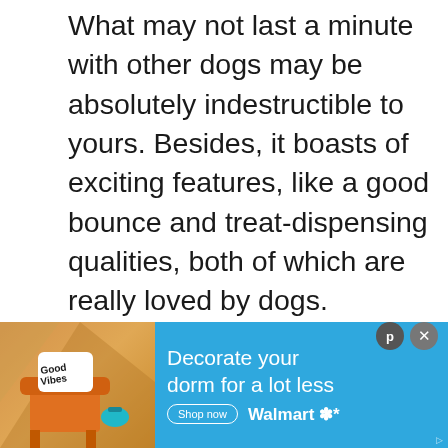What may not last a minute with other dogs may be absolutely indestructible to yours. Besides, it boasts of exciting features, like a good bounce and treat-dispensing qualities, both of which are really loved by dogs.
[Figure (screenshot): UI interaction buttons: blue circular like/heart button, like count '10', and share button]
[Figure (screenshot): White content area placeholder box below the main article text]
[Figure (screenshot): What's Next panel showing a thumbnail of a dog (Australian Shepherd) with label 'WHAT'S NEXT ->' and title 'Australian Shepherd La...']
[Figure (screenshot): Partial image strip showing people at top of ad section]
[Figure (screenshot): Walmart ad banner: 'Decorate your dorm for a lot less' with Shop now button and Walmart logo, with 'Good Vibes' pillow and orange chair on left side]